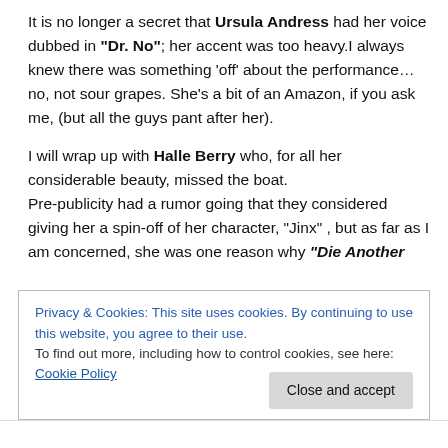It is no longer a secret that Ursula Andress had her voice dubbed in "Dr. No"; her accent was too heavy.I always knew there was something 'off' about the performance… no, not sour grapes. She's a bit of an Amazon, if you ask me, (but all the guys pant after her).
I will wrap up with Halle Berry who, for all her considerable beauty, missed the boat. Pre-publicity had a rumor going that they considered giving her a spin-off of her character, "Jinx" , but as far as I am concerned, she was one reason why "Die Another
Privacy & Cookies: This site uses cookies. By continuing to use this website, you agree to their use.
To find out more, including how to control cookies, see here: Cookie Policy